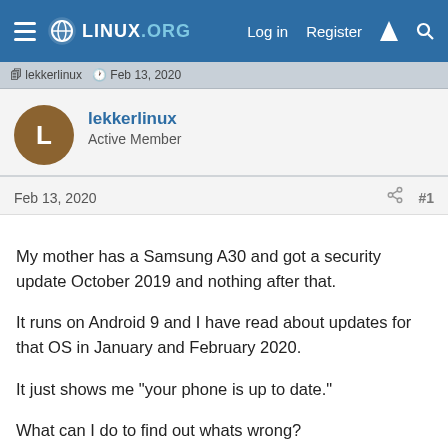LINUX.ORG — Log in  Register
lekkerlinux · Feb 13, 2020
lekkerlinux
Active Member
Feb 13, 2020
My mother has a Samsung A30 and got a security update October 2019 and nothing after that.

It runs on Android 9 and I have read about updates for that OS in January and February 2020.

It just shows me "your phone is up to date."

What can I do to find out whats wrong?